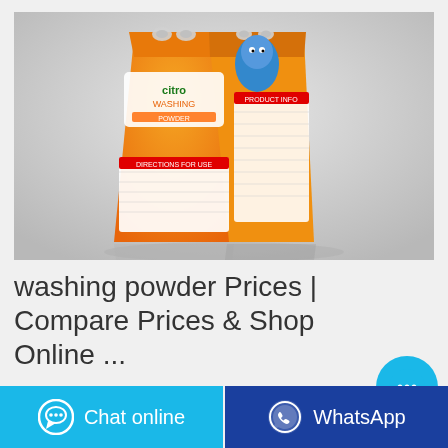[Figure (photo): Orange washing powder bags (laundry detergent) with blue cartoon character on label, photographed on grey background]
washing powder Prices | Compare Prices & Shop Online ...
[Figure (other): Floating blue chat bubble button with ellipsis icon]
[Figure (other): Bottom bar with two buttons: cyan 'Chat online' button with speech bubble icon, and dark blue 'WhatsApp' button with WhatsApp logo]